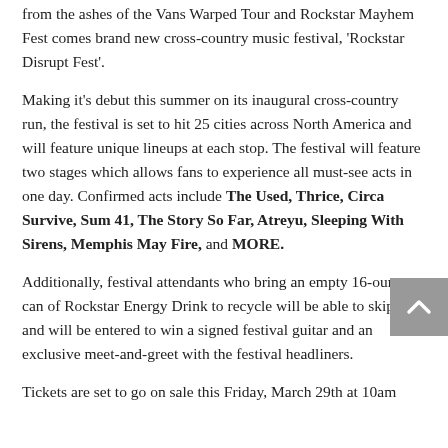from the ashes of the Vans Warped Tour and Rockstar Mayhem Fest comes brand new cross-country music festival, 'Rockstar Disrupt Fest'.
Making it's debut this summer on its inaugural cross-country run, the festival is set to hit 25 cities across North America and will feature unique lineups at each stop. The festival will feature two stages which allows fans to experience all must-see acts in one day. Confirmed acts include The Used, Thrice, Circa Survive, Sum 41, The Story So Far, Atreyu, Sleeping With Sirens, Memphis May Fire, and MORE.
Additionally, festival attendants who bring an empty 16-ounce can of Rockstar Energy Drink to recycle will be able to skip line and will be entered to win a signed festival guitar and an exclusive meet-and-greet with the festival headliners.
Tickets are set to go on sale this Friday, March 29th at 10am